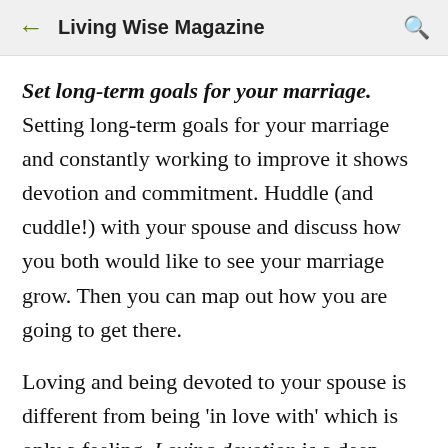Living Wise Magazine
Set long-term goals for your marriage. Setting long-term goals for your marriage and constantly working to improve it shows devotion and commitment. Huddle (and cuddle!) with your spouse and discuss how you both would like to see your marriage grow. Then you can map out how you are going to get there.
Loving and being devoted to your spouse is different from being 'in love with' which is only a feeling. Loving devotion is a deep unity, maintained by the will and deliberately strengthened by the